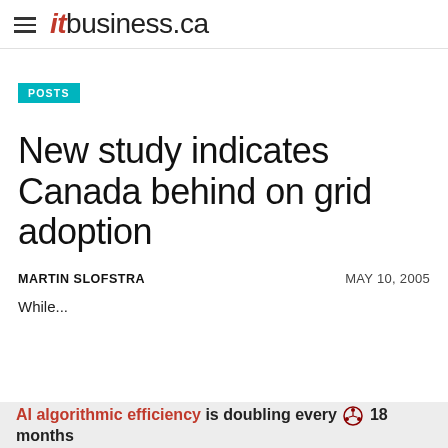itbusiness.ca
POSTS
New study indicates Canada behind on grid adoption
MARTIN SLOFSTRA    MAY 10, 2005
While...
AI algorithmic efficiency is doubling every 18 months